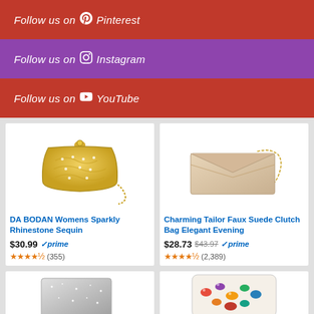Follow us on Pinterest
Follow us on Instagram
Follow us on YouTube
[Figure (illustration): DA BODAN gold sparkly rhinestone sequin clutch bag with chain]
DA BODAN Womens Sparkly Rhinestone Sequin
$30.99 prime (355)
[Figure (illustration): Charming Tailor faux suede beige envelope clutch bag with chain]
Charming Tailor Faux Suede Clutch Bag Elegant Evening
$28.73 $43.97 prime (2,389)
[Figure (illustration): Silver glitter clutch bag partially visible]
[Figure (illustration): Colorful jeweled clutch bag partially visible]